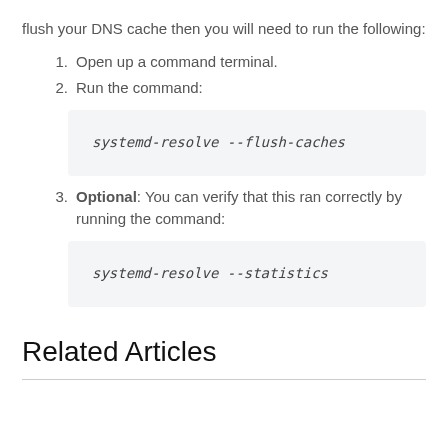flush your DNS cache then you will need to run the following:
Open up a command terminal.
Run the command:
systemd-resolve --flush-caches
Optional: You can verify that this ran correctly by running the command:
systemd-resolve --statistics
Related Articles